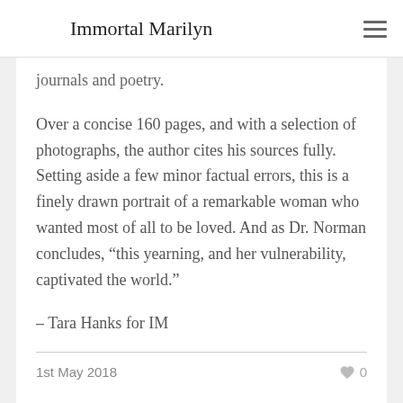Immortal Marilyn
journals and poetry.
Over a concise 160 pages, and with a selection of photographs, the author cites his sources fully. Setting aside a few minor factual errors, this is a finely drawn portrait of a remarkable woman who wanted most of all to be loved. And as Dr. Norman concludes, “this yearning, and her vulnerability, captivated the world.”
– Tara Hanks for IM
1st May 2018
0